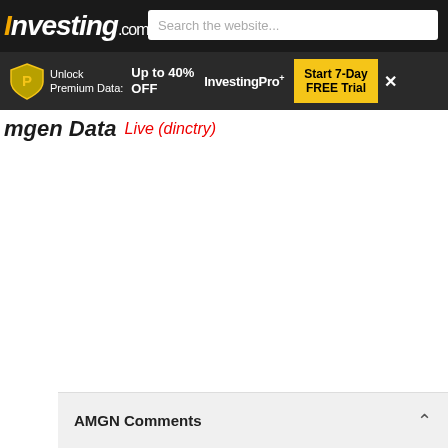Investing.com  Search the website...
Unlock Premium Data: Up to 40% OFF  InvestingPro+  Start 7-Day FREE Trial  ×
AMGN Comments ^